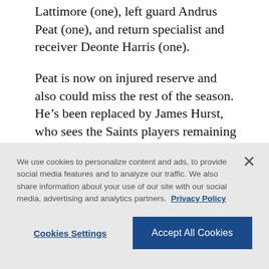Lattimore (one), left guard Andrus Peat (one), and return specialist and receiver Deonte Harris (one).
Peat is now on injured reserve and also could miss the rest of the season. He’s been replaced by James Hurst, who sees the Saints players remaining well set up to contend for a fifth-straight NFC South title.
“It says a lot about the culture here and about the guys that are brought in from different teams or drafted,” said Hurst, now in his second season with New
We use cookies to personalize content and ads, to provide social media features and to analyze our traffic. We also share information about your use of our site with our social media, advertising and analytics partners. Privacy Policy
Cookies Settings
Accept All Cookies